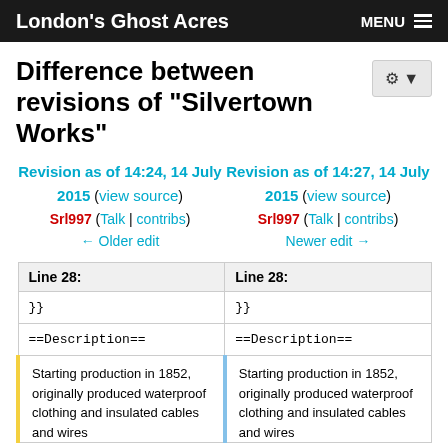London's Ghost Acres | MENU
Difference between revisions of "Silvertown Works"
Revision as of 14:24, 14 July 2015 (view source)
Srl997 (Talk | contribs)
← Older edit
Revision as of 14:27, 14 July 2015 (view source)
Srl997 (Talk | contribs)
Newer edit →
| Line 28: | Line 28: |
| --- | --- |
| }} | }} |
| ==Description== | ==Description== |
| Starting production in 1852, originally produced waterproof clothing and insulated cables and wires | Starting production in 1852, originally produced waterproof clothing and insulated cables and wires |